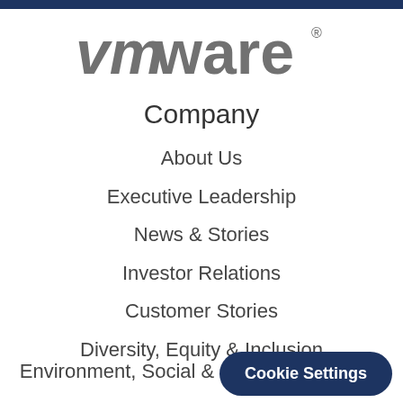[Figure (logo): VMware company logo in gray text]
Company
About Us
Executive Leadership
News & Stories
Investor Relations
Customer Stories
Diversity, Equity & Inclusion
Environment, Social &
Cookie Settings